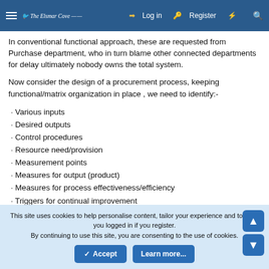The Elsmar Cove — Log in | Register
In conventional functional approach, these are requested from Purchase department, who in turn blame other connected departments for delay ultimately nobody owns the total system.
Now consider the design of a procurement process, keeping functional/matrix organization in place , we need to identify:-
· Various inputs
· Desired outputs
· Control procedures
· Resource need/provision
· Measurement points
· Measures for output (product)
· Measures for process effectiveness/efficiency
· Triggers for continual improvement
This site uses cookies to help personalise content, tailor your experience and to keep you logged in if you register. By continuing to use this site, you are consenting to the use of cookies.